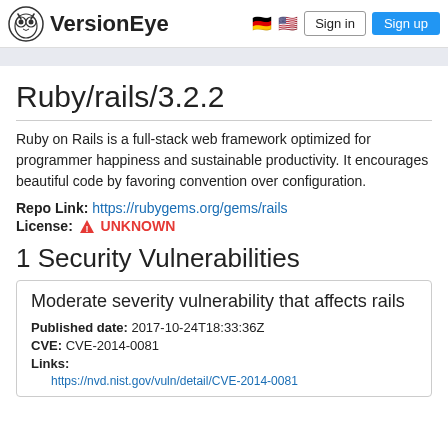VersionEye — Sign in | Sign up
Ruby/rails/3.2.2
Ruby on Rails is a full-stack web framework optimized for programmer happiness and sustainable productivity. It encourages beautiful code by favoring convention over configuration.
Repo Link: https://rubygems.org/gems/rails
License: ⚠ UNKNOWN
1 Security Vulnerabilities
Moderate severity vulnerability that affects rails
Published date: 2017-10-24T18:33:36Z
CVE: CVE-2014-0081
Links:
https://nvd.nist.gov/vuln/detail/CVE-2014-0081